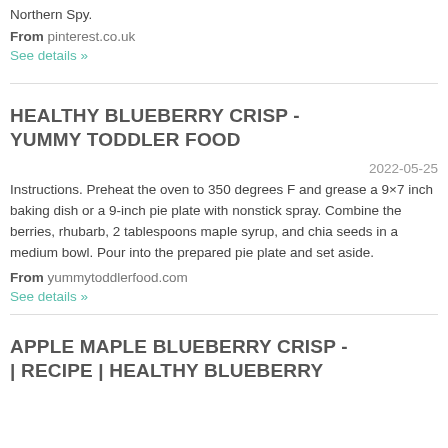Northern Spy.
From pinterest.co.uk
See details »
HEALTHY BLUEBERRY CRISP - YUMMY TODDLER FOOD
2022-05-25
Instructions. Preheat the oven to 350 degrees F and grease a 9×7 inch baking dish or a 9-inch pie plate with nonstick spray. Combine the berries, rhubarb, 2 tablespoons maple syrup, and chia seeds in a medium bowl. Pour into the prepared pie plate and set aside.
From yummytoddlerfood.com
See details »
APPLE MAPLE BLUEBERRY CRISP - | RECIPE | HEALTHY BLUEBERRY